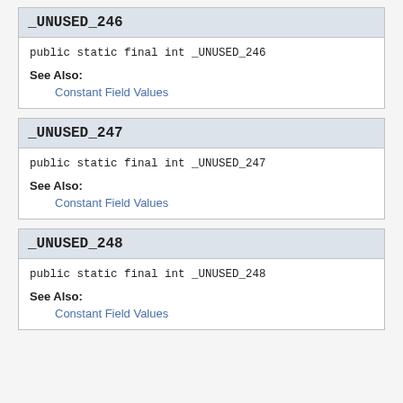_UNUSED_246
public static final int _UNUSED_246
See Also:
Constant Field Values
_UNUSED_247
public static final int _UNUSED_247
See Also:
Constant Field Values
_UNUSED_248
public static final int _UNUSED_248
See Also:
Constant Field Values